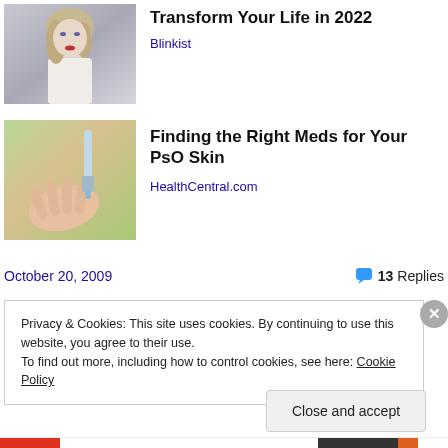[Figure (photo): Portrait of a blonde woman looking to the side, wearing white clothing, with makeup including red lipstick]
Transform Your Life in 2022
Blinkist
[Figure (photo): Close-up of a hand receiving drops of liquid from a dropper bottle, with green background]
Finding the Right Meds for Your PsO Skin
HealthCentral.com
October 20, 2009
13 Replies
Privacy & Cookies: This site uses cookies. By continuing to use this website, you agree to their use.
To find out more, including how to control cookies, see here: Cookie Policy
Close and accept